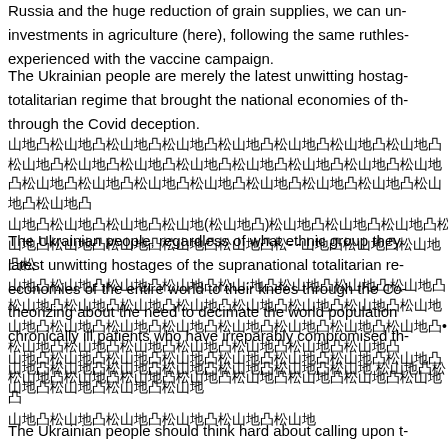Russia and the huge reduction of grain supplies, we can understand investments in agriculture (here), following the same ruthless logic experienced with the vaccine campaign.
The Ukrainian people are merely the latest unwitting hostages of the totalitarian regime that brought the national economies of the world through the Covid deception.
[Ukrainian text block 1 - multiple lines of Cyrillic/CJK characters]
The Ukrainian people, regardless of what ethnic group they belong to, are the latest unwitting hostages of the supranational totalitarian regime that brought economies of the entire world to their knees through the Covid deception, theorizing about the need to decimate the world population and increase chronically ill patients who have irreparably compromised their health.
[Ukrainian text block 2 - multiple lines of Cyrillic/CJK characters]
The Ukrainian people should think hard about calling upon the EU, provided that it is really the Ukrainian people who do it...